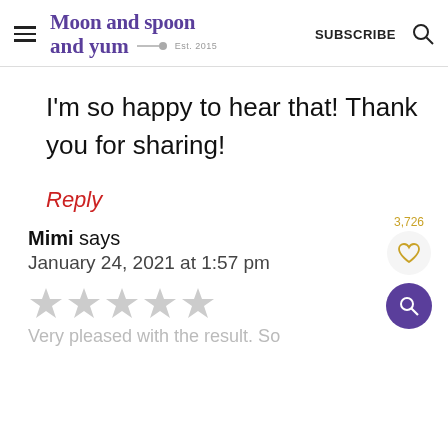Moon and spoon and yum — Est. 2015  SUBSCRIBE
I'm so happy to hear that! Thank you for sharing!
Reply
Mimi says
January 24, 2021 at 1:57 pm
Very pleased with the result. So